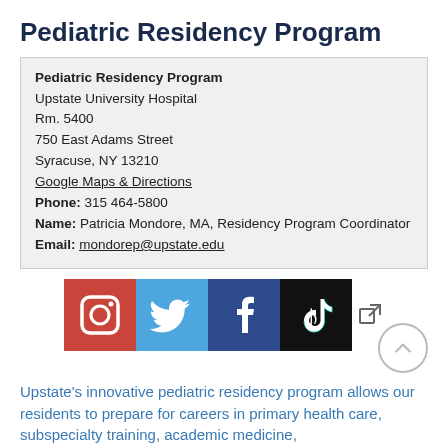Pediatric Residency Program
Pediatric Residency Program
Upstate University Hospital
Rm. 5400
750 East Adams Street
Syracuse, NY 13210
Google Maps & Directions
Phone: 315 464-5800
Name: Patricia Mondore, MA, Residency Program Coordinator
Email: mondorep@upstate.edu
[Figure (infographic): Row of four social media icons: Instagram (red background), Twitter (blue background), Facebook (dark blue background), TikTok (black background), plus an external link icon and an up-arrow scroll button.]
Upstate's innovative pediatric residency program allows our residents to prepare for careers in primary health care, subspecialty training, academic medicine,